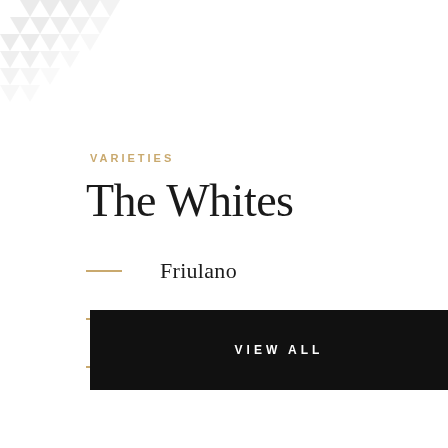[Figure (illustration): Decorative geometric triangle pattern in light gray in the top-left corner]
VARIETIES
The Whites
Friulano
Sauvignon Oro
Verduzzo
VIEW ALL